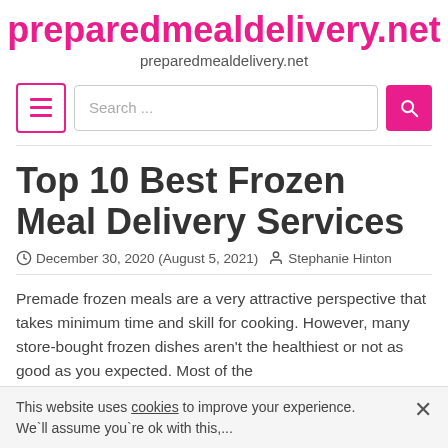preparedmealdelivery.net
preparedmealdelivery.net
Top 10 Best Frozen Meal Delivery Services
December 30, 2020 (August 5, 2021)  Stephanie Hinton
Premade frozen meals are a very attractive perspective that takes minimum time and skill for cooking. However, many store-bought frozen dishes aren't the healthiest or not as good as you expected. Most of the
This website uses cookies to improve your experience. We`ll assume you`re ok with this,...